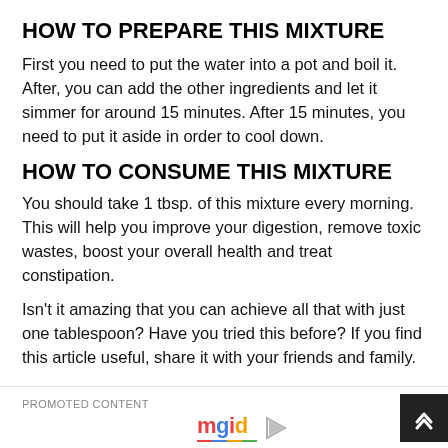HOW TO PREPARE THIS MIXTURE
First you need to put the water into a pot and boil it. After, you can add the other ingredients and let it simmer for around 15 minutes. After 15 minutes, you need to put it aside in order to cool down.
HOW TO CONSUME THIS MIXTURE
You should take 1 tbsp. of this mixture every morning. This will help you improve your digestion, remove toxic wastes, boost your overall health and treat constipation.
Isn’t it amazing that you can achieve all that with just one tablespoon? Have you tried this before? If you find this article useful, share it with your friends and family.
PROMOTED CONTENT